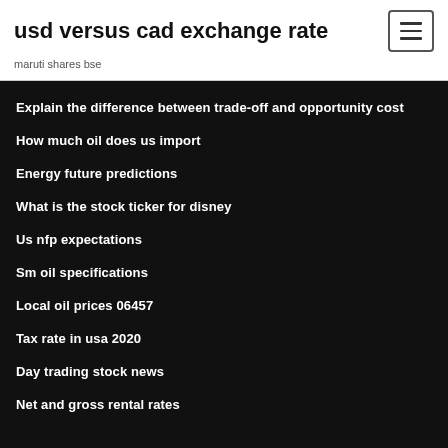usd versus cad exchange rate
maruti shares bse
Explain the difference between trade-off and opportunity cost
How much oil does us import
Energy future predictions
What is the stock ticker for disney
Us nfp expectations
Sm oil specifications
Local oil prices 06457
Tax rate in usa 2020
Day trading stock news
Net and gross rental rates